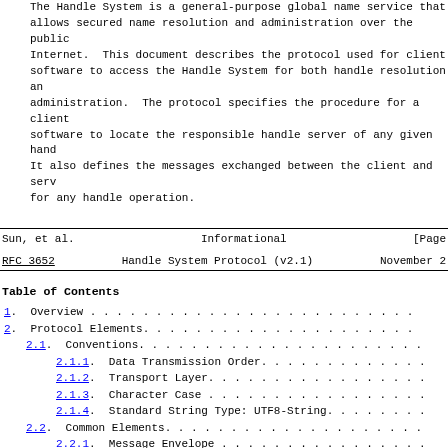The Handle System is a general-purpose global name service that allows secured name resolution and administration over the public Internet.  This document describes the protocol used for client software to access the Handle System for both handle resolution and administration.  The protocol specifies the procedure for a client software to locate the responsible handle server of any given handle. It also defines the messages exchanged between the client and server for any handle operation.
Sun, et al.                   Informational                    [Page
RFC 3652              Handle System Protocol (v2.1)         November 2...
Table of Contents
1.  Overview . . . . . . . . . . . . . . . . . . . . . . . . . .
2.  Protocol Elements. . . . . . . . . . . . . . . . . . . . . .
2.1.  Conventions. . . . . . . . . . . . . . . . . . . . . . . .
2.1.1.  Data Transmission Order. . . . . . . . . . . . . . . . .
2.1.2.  Transport Layer. . . . . . . . . . . . . . . . . . . . .
2.1.3.  Character Case . . . . . . . . . . . . . . . . . . . . .
2.1.4.  Standard String Type: UTF8-String. . . . . . . . . . . .
2.2.  Common Elements. . . . . . . . . . . . . . . . . . . . . .
2.2.1.  Message Envelope . . . . . . . . . . . . . . . . . . . .
2.2.2.  Message Header . . . . . . . . . . . . . . . . . . . . .
2.2.3.  Message Body . . . . . . . . . . . . . . . . . . . . . .